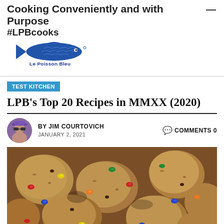Cooking Conveniently and with Purpose #LPBcooks
[Figure (logo): Le Poisson Bleu fish logo with text 'Le Poisson Bleu']
TEST KITCHEN
LPB's Top 20 Recipes in MMXX (2020)
BY JIM COURTOVICH   JANUARY 2, 2021   COMMENTS 0
[Figure (photo): Close-up photo of M&M cookies piled together, showing colorful M&M candies (red, yellow, blue, green, orange) embedded in golden-brown oatmeal cookies]